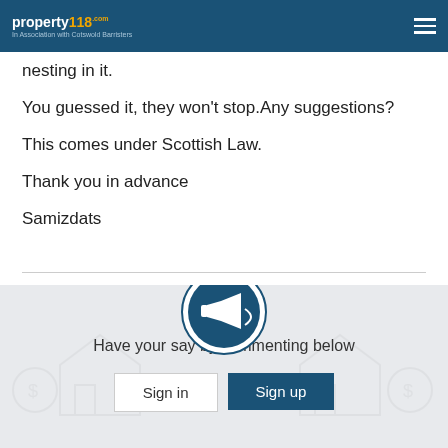property118.com - In Association with Cotswold Barristers
nesting in it.
You guessed it, they won't stop.Any suggestions?
This comes under Scottish Law.
Thank you in advance
Samizdats
[Figure (other): Megaphone icon in a circular border above a call-to-action section with background watermark of house and money icons]
Have your say by commenting below
Sign in  Sign up